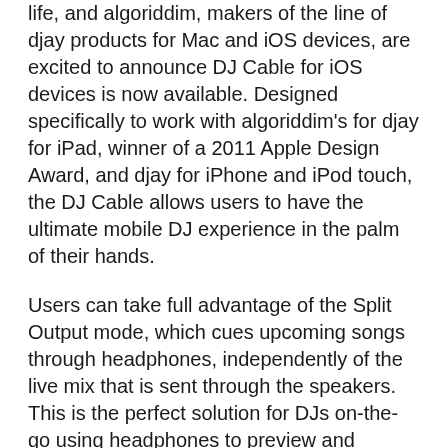life, and algoriddim, makers of the line of djay products for Mac and iOS devices, are excited to announce DJ Cable for iOS devices is now available. Designed specifically to work with algoriddim's for djay for iPad, winner of a 2011 Apple Design Award, and djay for iPhone and iPod touch, the DJ Cable allows users to have the ultimate mobile DJ experience in the palm of their hands.
Users can take full advantage of the Split Output mode, which cues upcoming songs through headphones, independently of the live mix that is sent through the speakers. This is the perfect solution for DJs on-the-go using headphones to preview and prepare the next song to ensure the audience can groove seamlessly to the playlist. The DJ Cable offers a unique experience for beginners and professionals alike turning any social event into the ultimate dance party.
“We are delighted to team up with algoriddim to bring DJs a portable solution for their art,” said Mark Rowan, President of Griffin Technology. “With DJ Cable, DJs can now easily spin music using their favorite iOS device with advanced